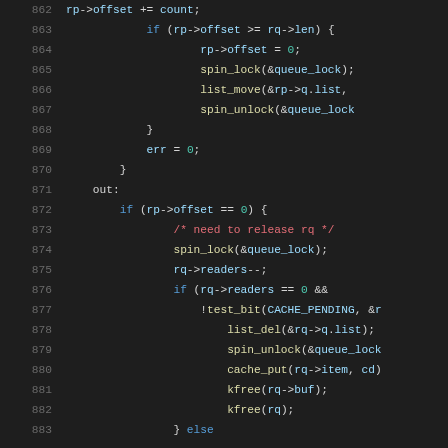[Figure (screenshot): Source code screenshot showing C kernel code lines 862-883 with syntax highlighting on a dark background. Lines show read pointer offset checking, spin locks, list operations, error setting, and cache/memory management logic.]